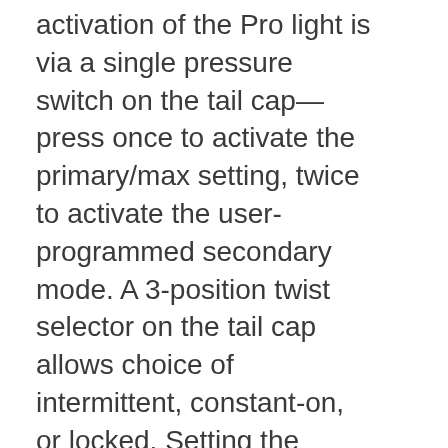activation of the Pro light is via a single pressure switch on the tail cap—press once to activate the primary/max setting, twice to activate the user-programmed secondary mode. A 3-position twist selector on the tail cap allows choice of intermittent, constant-on, or locked. Setting the secondary mode takes just seconds—simply